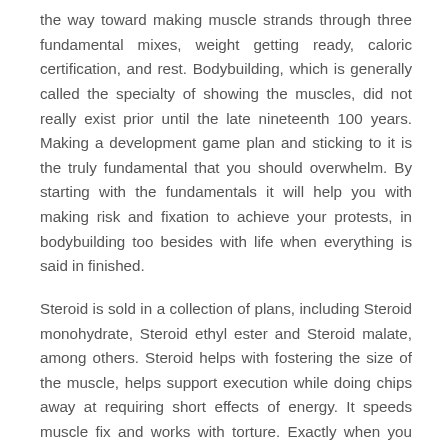the way toward making muscle strands through three fundamental mixes, weight getting ready, caloric certification, and rest. Bodybuilding, which is generally called the specialty of showing the muscles, did not really exist prior until the late nineteenth 100 years. Making a development game plan and sticking to it is the truly fundamental that you should overwhelm. By starting with the fundamentals it will help you with making risk and fixation to achieve your protests, in bodybuilding too besides with life when everything is said in finished.
Steroid is sold in a collection of plans, including Steroid monohydrate, Steroid ethyl ester and Steroid malate, among others. Steroid helps with fostering the size of the muscle, helps support execution while doing chips away at requiring short effects of energy. It speeds muscle fix and works with torture. Exactly when you purchase bodybuilding steroids you really want to know